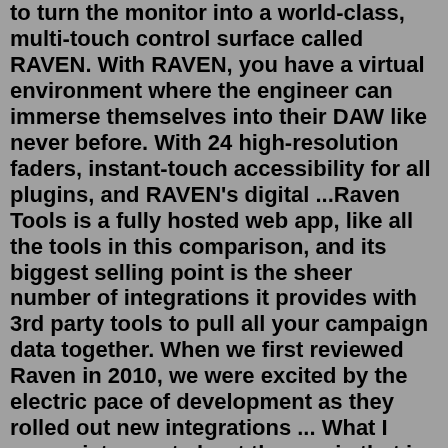to turn the monitor into a world-class, multi-touch control surface called RAVEN. With RAVEN, you have a virtual environment where the engineer can immerse themselves into their DAW like never before. With 24 high-resolution faders, instant-touch accessibility for all plugins, and RAVEN's digital ...Raven Tools is a fully hosted web app, like all the tools in this comparison, and its biggest selling point is the sheer number of integrations it provides with 3rd party tools to pull all your campaign data together. When we first reviewed Raven in 2010, we were excited by the electric pace of development as they rolled out new integrations ... What I appreciate most about the app is that in the beginning lessons, Reading Raven introduces very few sight words. I also like that Reading Raven has an emphasis on the letter sounds not the letter names. In the early lessons most of the games are based on sounds. Sounds are introduced a few at a time. You can configure different users and ... + Universal App. $9.99. RAVENMARK: Scourge of Estellion Review. Our